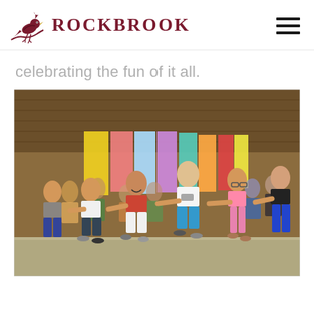ROCKBROOK
celebrating the fun of it all.
[Figure (photo): Girls dancing together in a chain line inside a barn decorated with colorful fabric banners, laughing and celebrating at Rockbrook Camp.]